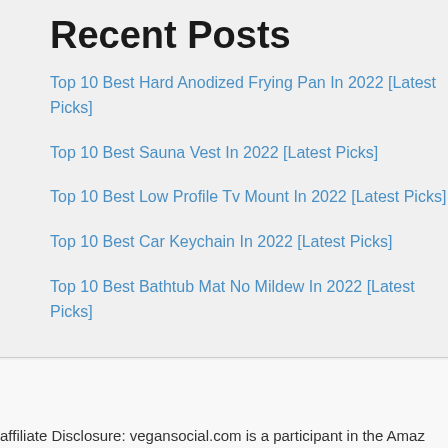Recent Posts
Top 10 Best Hard Anodized Frying Pan In 2022 [Latest Picks]
Top 10 Best Sauna Vest In 2022 [Latest Picks]
Top 10 Best Low Profile Tv Mount In 2022 [Latest Picks]
Top 10 Best Car Keychain In 2022 [Latest Picks]
Top 10 Best Bathtub Mat No Mildew In 2022 [Latest Picks]
affiliate Disclosure: vegansocial.com is a participant in the Amaz...